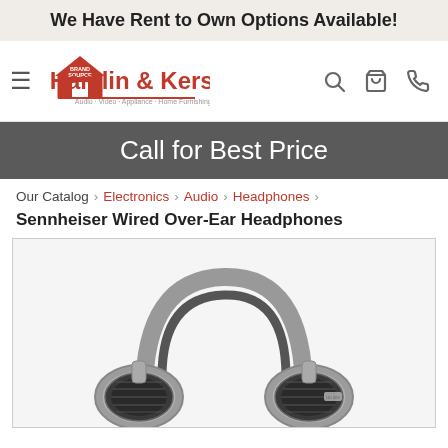We Have Rent to Own Options Available!
[Figure (logo): Brand Source / Hamlin & Kersey logo with house icon, Audio · Video · Appliance · Home Furnishings tagline]
Call for Best Price
Our Catalog › Electronics › Audio › Headphones ›
Sennheiser Wired Over-Ear Headphones
[Figure (photo): Photo of Sennheiser wired over-ear headphones, silver and black, shown from a front-angled view against a white background]